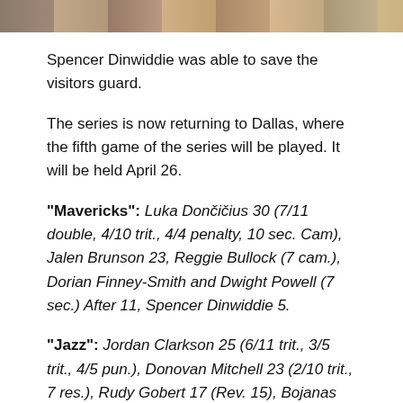[Figure (photo): A horizontal strip of photographs showing people, cropped at the top of the page]
Spencer Dinwiddie was able to save the visitors guard.
The series is now returning to Dallas, where the fifth game of the series will be played. It will be held April 26.
"Mavericks": Luka Dončičius 30 (7/11 double, 4/10 trit., 4/4 penalty, 10 sec. Cam), Jalen Brunson 23, Reggie Bullock (7 cam.), Dorian Finney-Smith and Dwight Powell (7 sec.) After 11, Spencer Dinwiddie 5.
"Jazz": Jordan Clarkson 25 (6/11 trit., 3/5 trit., 4/5 pun.), Donovan Mitchell 23 (2/10 trit., 7 res.), Rudy Gobert 17 (Rev. 15), Bojanas